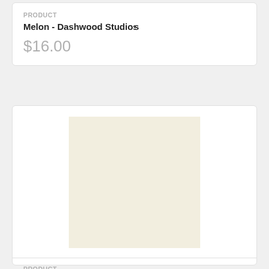PRODUCT
Melon - Dashwood Studios
$16.00
[Figure (photo): Cream/off-white fabric swatch with subtle stitched circle tone-on-tone pattern]
PRODUCT
Stitched Circle Tone On Tone Cream
$18.00